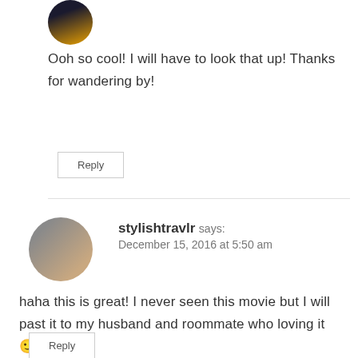[Figure (photo): Circular avatar image with dark/sunset background]
Ooh so cool! I will have to look that up! Thanks for wandering by!
Reply
stylishtravlr says: December 15, 2016 at 5:50 am
[Figure (photo): Circular avatar photo of a woman in a light-colored dress]
haha this is great! I never seen this movie but I will past it to my husband and roommate who loving it 🙂
Reply